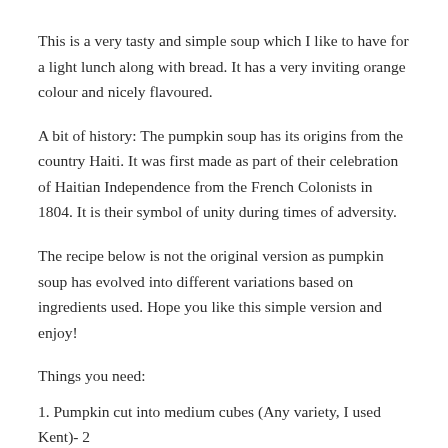This is a very tasty and simple soup which I like to have for a light lunch along with bread. It has a very inviting orange colour and nicely flavoured.
A bit of history: The pumpkin soup has its origins from the country Haiti. It was first made as part of their celebration of Haitian Independence from the French Colonists in 1804. It is their symbol of unity during times of adversity.
The recipe below is not the original version as pumpkin soup has evolved into different variations based on ingredients used. Hope you like this simple version and enjoy!
Things you need:
1. Pumpkin cut into medium cubes (Any variety, I used Kent)- 2 cups